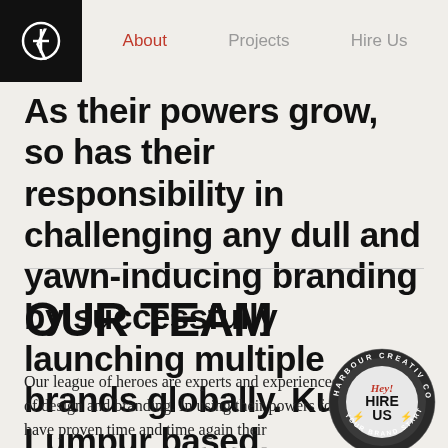About | Projects | Hire Us
As their powers grow, so has their responsibility in challenging any dull and yawn-inducing branding by successfully launching multiple brands globally. Kuala Lumpur based, worldwide reached.
OUR TEAM
Our league of heroes are experts and experienced in the realm of design and branding. In using their powers for good, they have proven time and time again their
[Figure (logo): Harbour Creativ Co circular stamp/badge with 'Hey! HIRE US YOUR BRAND STARTS HERE' text]